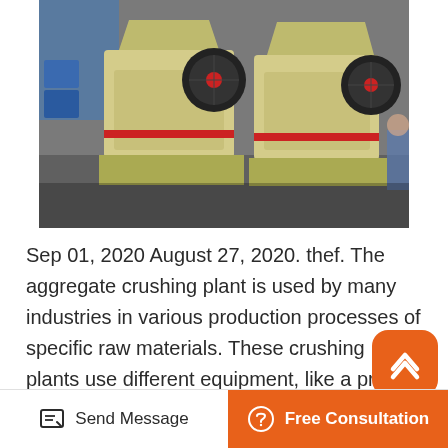[Figure (photo): Industrial aggregate crusher machines (jaw crushers) in yellow/beige color with red flywheels, parked on a factory floor. Multiple units visible side by side.]
Sep 01, 2020 August 27, 2020. thef. The aggregate crushing plant is used by many industries in various production processes of specific raw materials. These crushing plants use different equipment, like a pre-screener, magnetic separator, loading conveyor, and crushing units, such as cone crushers and jaw crushers. Aggregate Crushing Plants.
Mobile Rock Crusher Plants Senya